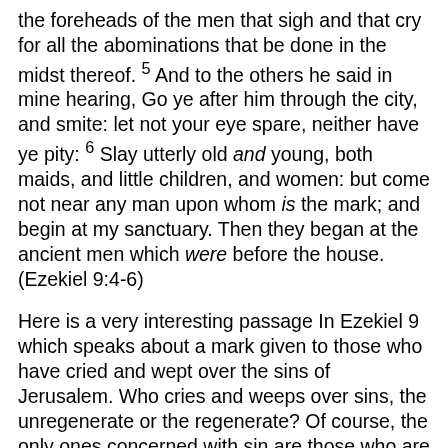the foreheads of the men that sigh and that cry for all the abominations that be done in the midst thereof. 5 And to the others he said in mine hearing, Go ye after him through the city, and smite: let not your eye spare, neither have ye pity: 6 Slay utterly old and young, both maids, and little children, and women: but come not near any man upon whom is the mark; and begin at my sanctuary. Then they began at the ancient men which were before the house. (Ezekiel 9:4-6)
Here is a very interesting passage In Ezekiel 9 which speaks about a mark given to those who have cried and wept over the sins of Jerusalem. Who cries and weeps over sins, the unregenerate or the regenerate? Of course, the only ones concerned with sin are those who are saved, the world continues on in sinful perpetuity until the last day. Isn't it interesting that God used the very same language approximately 600 BC when giving the command to Ezekiel to set a mark on the heads of the saved? Did Ezekiel walk around with a quill and put a mark on all the repentant? Here is a picture of the last day. Those who have the mark of God in their foreheads will not be touched by the final judgment but those who have the mark of the beast a.k.a. the unsaved, shall be judged and cast into eternal hell, which here is symbolized by the physical slaughter of the disobedient in Jerusalem in Ezekiel 9.